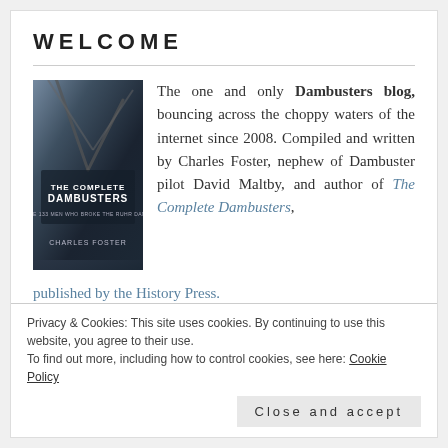WELCOME
[Figure (photo): Book cover of 'The Complete Dambusters' by Charles Foster, dark atmospheric cover with ropes or chains]
The one and only Dambusters blog, bouncing across the choppy waters of the internet since 2008. Compiled and written by Charles Foster, nephew of Dambuster pilot David Maltby, and author of The Complete Dambusters, published by the History Press.
All text © copyright Charles Foster/Dambusters Blog. Please do not copy or quote from text without acknowledging source. Pictures © various sources as
Privacy & Cookies: This site uses cookies. By continuing to use this website, you agree to their use.
To find out more, including how to control cookies, see here: Cookie Policy
Close and accept